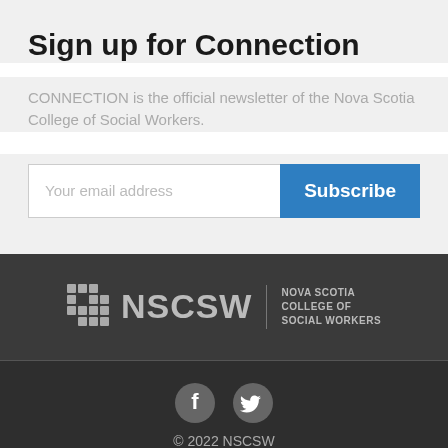Sign up for Connection
CONNECTION is the official newsletter of the Nova Scotia College of Social Workers.
[Figure (screenshot): Email subscription input box with placeholder text 'Your email address' and a blue 'Subscribe' button]
[Figure (logo): NSCSW logo — Nova Scotia College of Social Workers — with icon, NSCSW wordmark, vertical divider, and full name in grey on dark background]
[Figure (infographic): Social media icons: Facebook and Twitter in grey circles]
© 2022 NSCSW